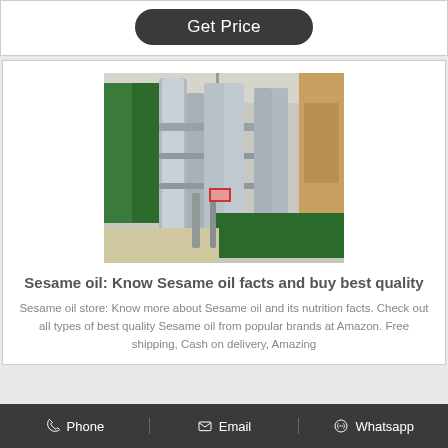Get Price
[Figure (photo): Industrial oil processing facility interior with stainless steel pipes, tanks and equipment, green carpet on floor]
Sesame oil: Know Sesame oil facts and buy best quality
Sesame oil store: Know more about Sesame oil and its nutrition facts. Check out all types of best quality Sesame oil from popular brands at Amazon. Free shipping, Cash on delivery, Amazing
Phone   Email   Whatsapp